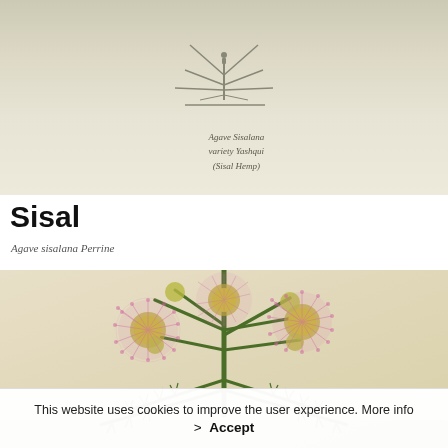[Figure (illustration): Botanical illustration of Agave sisalana plant, pencil/engraving style on aged paper background, with handwritten annotation reading 'Agave Sisalana variety Yashqui (Sisal Hemp)']
Agave Sisalana variety Yashqui (Sisal Hemp)
Sisal
Agave sisalana Perrine
[Figure (illustration): Botanical illustration of a plant with bright pink feathery/fluffy flower puffs (mimosa or silk tree type) with green pinnate leaves, painted in color on aged paper background]
This website uses cookies to improve the user experience. More info > Accept